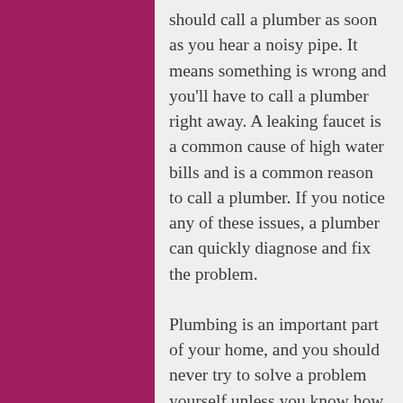should call a plumber as soon as you hear a noisy pipe. It means something is wrong and you'll have to call a plumber right away. A leaking faucet is a common cause of high water bills and is a common reason to call a plumber. If you notice any of these issues, a plumber can quickly diagnose and fix the problem.
Plumbing is an important part of your home, and you should never try to solve a problem yourself unless you know how to solve it. The best way to avoid a disaster is to call a plumber for a simple job. A professional plumber will be able to help you find a blocked pipe and fix it. Even if the pipes are not blocked, they